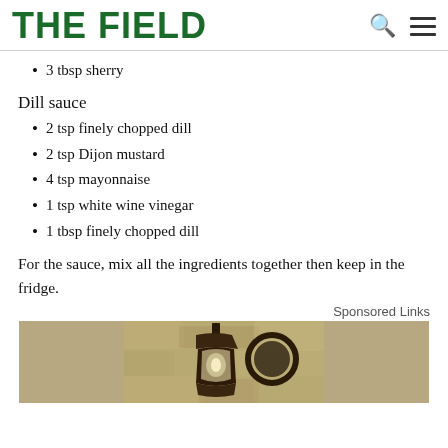THE FIELD
3 tbsp sherry
Dill sauce
2 tsp finely chopped dill
2 tsp Dijon mustard
4 tsp mayonnaise
1 tsp white wine vinegar
1 tbsp finely chopped dill
For the sauce, mix all the ingredients together then keep in the fridge.
Sponsored Links
[Figure (photo): Outdoor wall-mounted lantern light fixture against a stone/textured wall background]